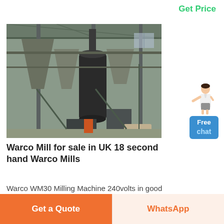Get Price
[Figure (photo): Industrial milling facility interior showing large cylindrical mill equipment, steel framework, hoppers, conveyor systems and other heavy industrial machinery in a warehouse-like structure.]
Warco Mill for sale in UK 18 second hand Warco Mills
Warco WM30 Milling Machine 240volts in good condit Warco WM30 12 speed milling
Free chat
Get a Quote
WhatsApp